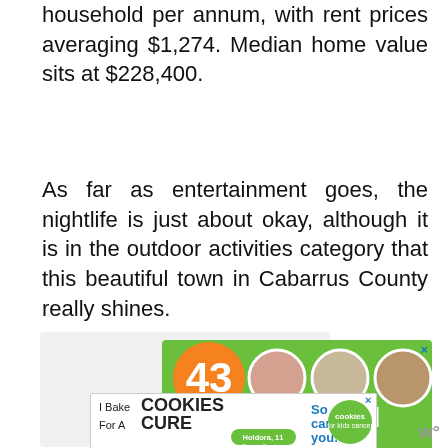household per annum, with rent prices averaging $1,274. Median home value sits at $228,400.
As far as entertainment goes, the nightlife is just about okay, although it is in the outdoor activities category that this beautiful town in Cabarrus County really shines.
[Figure (illustration): Advertisement: Green background ad showing '43 CHILDREN A Day Are Diagnosed With Cancer in the U.S.' with an orange circle containing the number 43 and three circular photos of children.]
[Figure (illustration): Advertisement: 'I Bake COOKIES For A CURE' with cookies for kids cancer branding, Holdora 11 Cancer Survivor.]